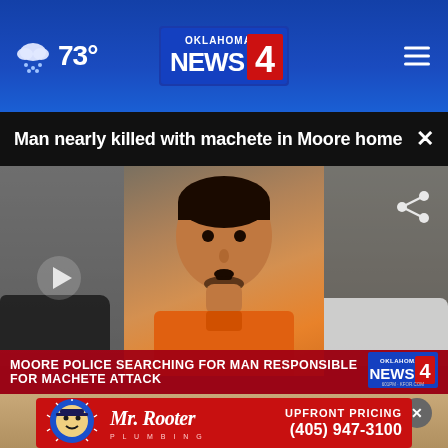73° | Oklahoma's News 4
Man nearly killed with machete in Moore home
[Figure (screenshot): News broadcast screenshot showing mugshot of suspect in orange jumpsuit overlaid on apartment building background. Lower-third chyron reads: MOORE POLICE SEARCHING FOR MAN RESPONSIBLE FOR MACHETE ATTACK. Oklahoma's News 4 logo visible in lower right.]
[Figure (photo): Partial image below video, showing close-up of a hat, with close button and Mr. Rooter Plumbing advertisement banner.]
MOORE POLICE SEARCHING FOR MAN RESPONSIBLE FOR MACHETE ATTACK
UPFRONT PRICING (405) 947-3100 Mr. Rooter Plumbing